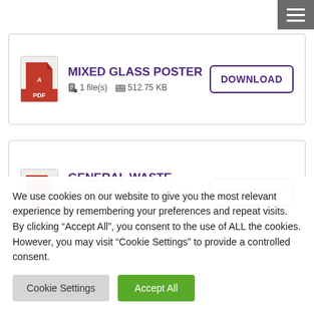[Figure (screenshot): Hamburger menu icon (three white horizontal bars on grey background) in top right corner]
MIXED GLASS POSTER
1 file(s)   512.75 KB
[Figure (screenshot): DOWNLOAD button with purple border and text for Mixed Glass Poster]
GENERAL WASTE POSTER
1 file(s)   870.66 KB
[Figure (screenshot): DOWNLOAD button with purple border and text for General Waste Poster]
We use cookies on our website to give you the most relevant experience by remembering your preferences and repeat visits. By clicking “Accept All”, you consent to the use of ALL the cookies. However, you may visit “Cookie Settings” to provide a controlled consent.